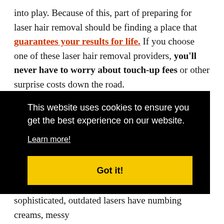into play. Because of this, part of preparing for laser hair removal should be finding a place that guarantees your results for life. If you choose one of these laser hair removal providers, you'll never have to worry about touch-up fees or other surprise costs down the road.
Does laser hair removal hurt?
Not compared to waxing, which has the biggest ouch factor of all. We read as many laser hair removal reviews from [cookie overlay obscures text] ther [obscured text] —the [obscured text] d at [obscured text] ss sophisticated, outdated lasers have numbing creams, messy
This website uses cookies to ensure you get the best experience on our website. Learn more! Got it!